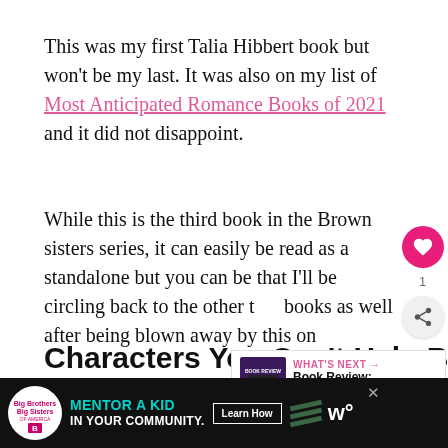This was my first Talia Hibbert book but won't be my last. It was also on my list of Most Anticipated Romance Books of 2021 and it did not disappoint.
While this is the third book in the Brown sisters series, it can easily be read as a standalone but you can be that I'll be circling back to the other two books as well after being blown away by this one.
Characters You Can't Help But Love
[Figure (other): Advertisement banner: Big Brothers Big Sisters of America - MENTOR A KID IN YOUR COMMUNITY with Learn How button]